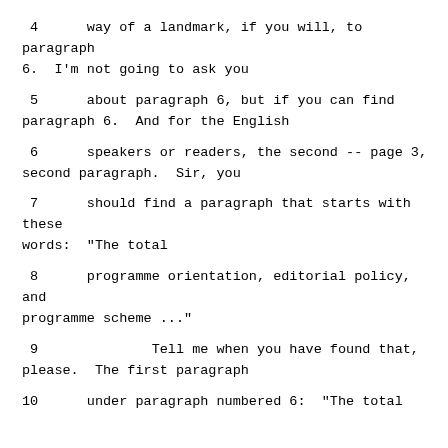4      way of a landmark, if you will, to paragraph
6.  I'm not going to ask you
5      about paragraph 6, but if you can find
paragraph 6.  And for the English
6      speakers or readers, the second -- page 3,
second paragraph.  Sir, you
7      should find a paragraph that starts with these
words:  "The total
8      programme orientation, editorial policy, and
programme scheme ..."
9              Tell me when you have found that,
please.  The first paragraph
10      under paragraph numbered 6:  "The total